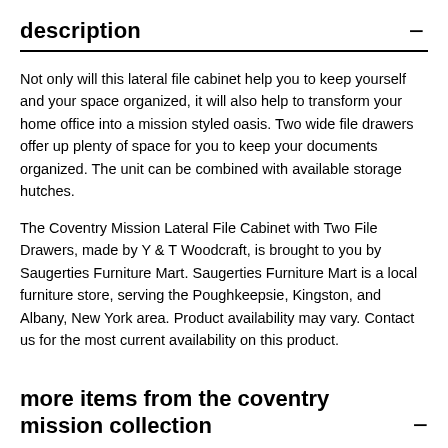description
Not only will this lateral file cabinet help you to keep yourself and your space organized, it will also help to transform your home office into a mission styled oasis. Two wide file drawers offer up plenty of space for you to keep your documents organized. The unit can be combined with available storage hutches.
The Coventry Mission Lateral File Cabinet with Two File Drawers, made by Y & T Woodcraft, is brought to you by Saugerties Furniture Mart. Saugerties Furniture Mart is a local furniture store, serving the Poughkeepsie, Kingston, and Albany, New York area. Product availability may vary. Contact us for the most current availability on this product.
more items from the coventry mission collection